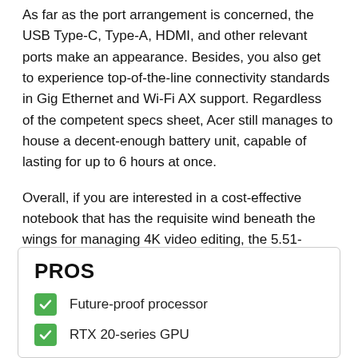As far as the port arrangement is concerned, the USB Type-C, Type-A, HDMI, and other relevant ports make an appearance. Besides, you also get to experience top-of-the-line connectivity standards in Gig Ethernet and Wi-Fi AX support. Regardless of the competent specs sheet, Acer still manages to house a decent-enough battery unit, capable of lasting for up to 6 hours at once.
Overall, if you are interested in a cost-effective notebook that has the requisite wind beneath the wings for managing 4K video editing, the 5.51-pound Acer Predator Helios 300 is the one to purchase.
PROS
Future-proof processor
RTX 20-series GPU